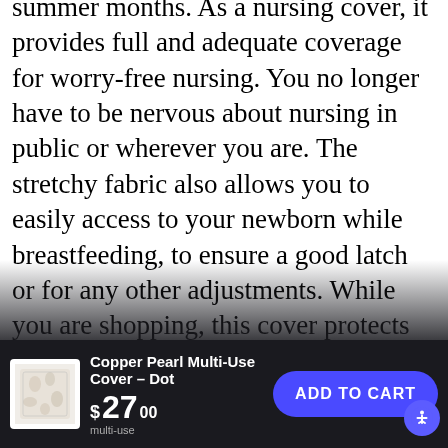summer months. As a nursing cover, it provides full and adequate coverage for worry-free nursing. You no longer have to be nervous about nursing in public or wherever you are. The stretchy fabric also allows you to easily access to your newborn while breastfeeding, to ensure a good latch or for any other adjustments. While you are shopping, this cover protects your little one from germ infested shopping carts, providing a great alternative to using antibacterial wipes every time you go to the store. One size fits almost all models of car seats, shopping carts, and nursing mothers. Compact when folded, the cover conveniently takes up little storage space in your diaper bag or purse. This nursing cover / car seat cover makes a perfect stresses present on baby shower gift for new ns.
[Figure (photo): Product thumbnail image of Copper Pearl Multi-Use Cover - Dot in a small square thumbnail]
Copper Pearl Multi-Use Cover – Dot
$27.00
ADD TO CART